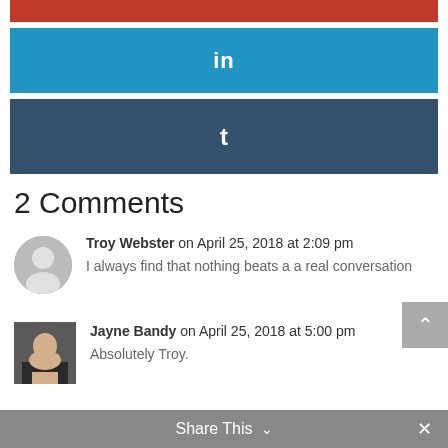[Figure (other): Red bar (social share button top)]
[Figure (other): LinkedIn share button (blue bar with 'in' icon)]
[Figure (other): Tumblr share button (dark blue bar with 't' icon)]
2 Comments
Troy Webster on April 25, 2018 at 2:09 pm
I always find that nothing beats a a real conversation
Jayne Bandy on April 25, 2018 at 5:00 pm
Absolutely Troy.
Share This ∨  ×